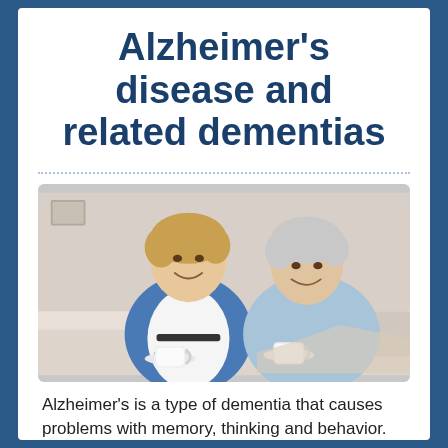Alzheimer's disease and related dementias
[Figure (photo): A younger woman and an older woman sitting together, both smiling and holding cups of tea or coffee on saucers, engaged in friendly conversation.]
Alzheimer's is a type of dementia that causes problems with memory, thinking and behavior.